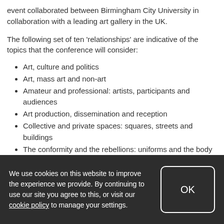event collaborated between Birmingham City University in collaboration with a leading art gallery in the UK.
The following set of ten ‘relationships’ are indicative of the topics that the conference will consider:
Art, culture and politics
Art, mass art and non-art
Amateur and professional: artists, participants and audiences
Art production, dissemination and reception
Collective and private spaces: squares, streets and buildings
The conformity and the rebellions: uniforms and the body
Mass assemblies and parades: performative and immersive
We use cookies on this website to improve the experience we provide. By continuing to use our site you agree to this, or visit our cookie policy to manage your settings.